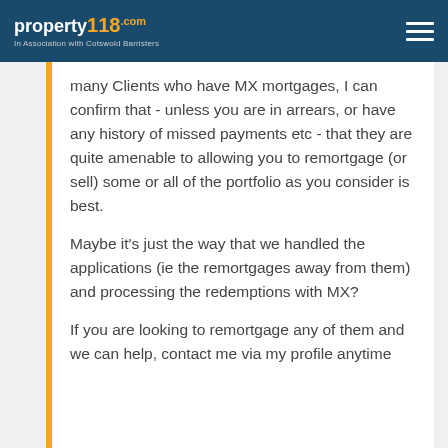property118.com — In Association with Cotswold Barristers
many Clients who have MX mortgages, I can confirm that - unless you are in arrears, or have any history of missed payments etc - that they are quite amenable to allowing you to remortgage (or sell) some or all of the portfolio as you consider is best.
Maybe it's just the way that we handled the applications (ie the remortgages away from them) and processing the redemptions with MX?
If you are looking to remortgage any of them and we can help, contact me via my profile anytime